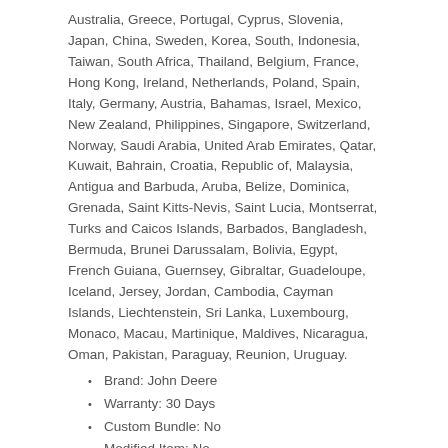Australia, Greece, Portugal, Cyprus, Slovenia, Japan, China, Sweden, Korea, South, Indonesia, Taiwan, South Africa, Thailand, Belgium, France, Hong Kong, Ireland, Netherlands, Poland, Spain, Italy, Germany, Austria, Bahamas, Israel, Mexico, New Zealand, Philippines, Singapore, Switzerland, Norway, Saudi Arabia, United Arab Emirates, Qatar, Kuwait, Bahrain, Croatia, Republic of, Malaysia, Antigua and Barbuda, Aruba, Belize, Dominica, Grenada, Saint Kitts-Nevis, Saint Lucia, Montserrat, Turks and Caicos Islands, Barbados, Bangladesh, Bermuda, Brunei Darussalam, Bolivia, Egypt, French Guiana, Guernsey, Gibraltar, Guadeloupe, Iceland, Jersey, Jordan, Cambodia, Cayman Islands, Liechtenstein, Sri Lanka, Luxembourg, Monaco, Macau, Martinique, Maldives, Nicaragua, Oman, Pakistan, Paraguay, Reunion, Uruguay.
Brand: John Deere
Warranty: 30 Days
Custom Bundle: No
Modified Item: No